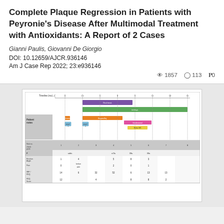Complete Plaque Regression in Patients with Peyronie's Disease After Multimodal Treatment with Antioxidants: A Report of 2 Cases
Gianni Paulis, Giovanni De Giorgio
DOI: 10.12659/AJCR.936146
Am J Case Rep 2022; 23:e936146
1857  113  0
[Figure (infographic): Timeline and data table figure showing treatment schedule and outcomes for 2 Peyronie's disease cases. Top portion shows colored bars representing different treatments over time periods. Bottom portion shows a structured data table with patient measurements across multiple time points.]